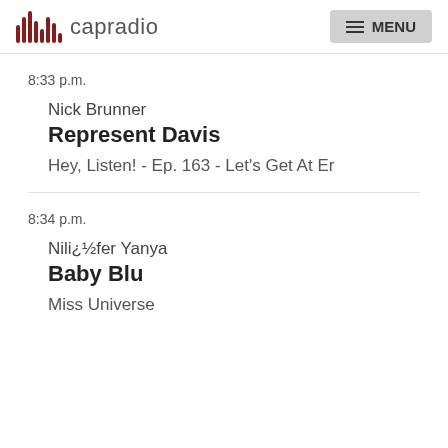capradio  MENU
8:33 p.m.
Nick Brunner
Represent Davis
Hey, Listen! - Ep. 163 - Let's Get At Er
8:34 p.m.
Nili¿½fer Yanya
Baby Blu
Miss Universe